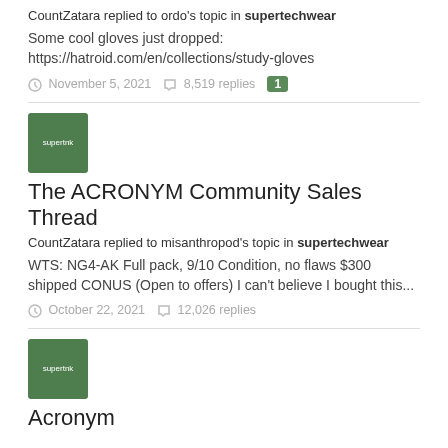CountZatara replied to ordo's topic in supertechwear
Some cool gloves just dropped:
https://hatroid.com/en/collections/study-gloves
November 5, 2021   8,519 replies   1
[Figure (illustration): Green square avatar with text 'supertnk']
The ACRONYM Community Sales Thread
CountZatara replied to misanthropod's topic in supertechwear
WTS: NG4-AK Full pack, 9/10 Condition, no flaws $300 shipped CONUS (Open to offers) I can't believe I bought this...
October 22, 2021   12,026 replies
[Figure (illustration): Green square avatar with text 'supertnk']
Acronym